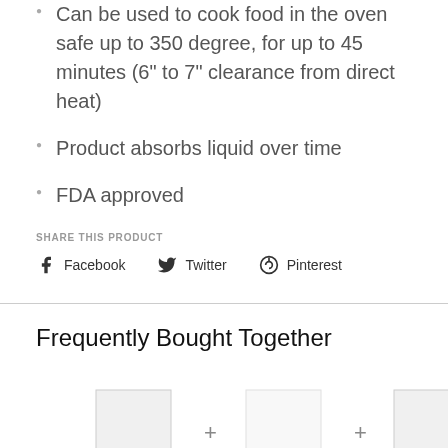Can be used to cook food in the oven safe up to 350 degree, for up to 45 minutes (6" to 7" clearance from direct heat)
Product absorbs liquid over time
FDA approved
SHARE THIS PRODUCT
Facebook  Twitter  Pinterest
Frequently Bought Together
[Figure (photo): Product images for frequently bought together section with placeholder boxes and plus signs]